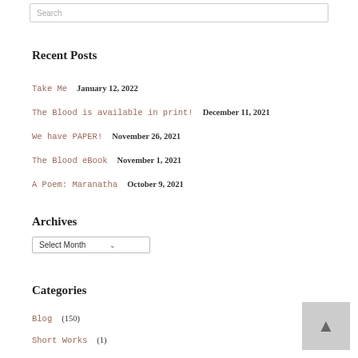Search
Recent Posts
Take Me January 12, 2022
The Blood is available in print! December 11, 2021
We have PAPER! November 26, 2021
The Blood eBook November 1, 2021
A Poem: Maranatha October 9, 2021
Archives
Select Month
Categories
Blog (150)
Short Works (1)